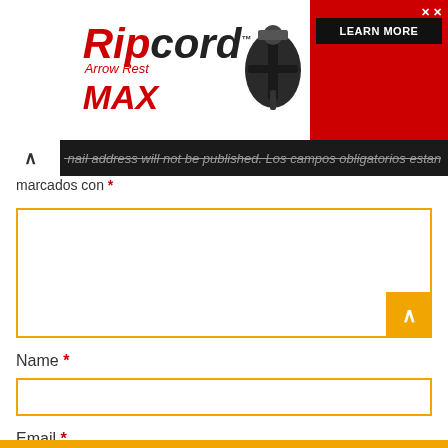[Figure (screenshot): Ripcord Arrow Rest MAX advertisement banner with logo on white background and red area on right side with LEARN MORE button]
mail address will not be published. Los campos obligatorios están marcados con *
Name *
Email *